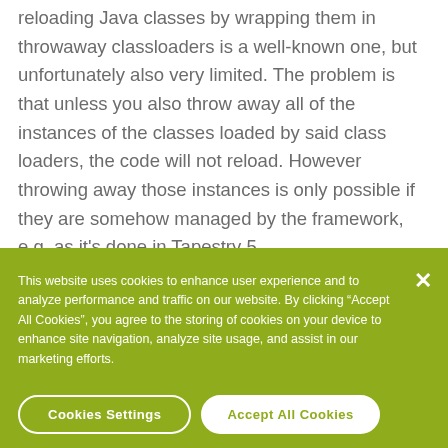reloading Java classes by wrapping them in throwaway classloaders is a well-known one, but unfortunately also very limited. The problem is that unless you also throw away all of the instances of the classes loaded by said class loaders, the code will not reload. However throwing away those instances is only possible if they are somehow managed by the framework, e.g. as it's done in Tapestry 5.
This website uses cookies to enhance user experience and to analyze performance and traffic on our website. By clicking "Accept All Cookies", you agree to the storing of cookies on your device to enhance site navigation, analyze site usage, and assist in our marketing efforts.